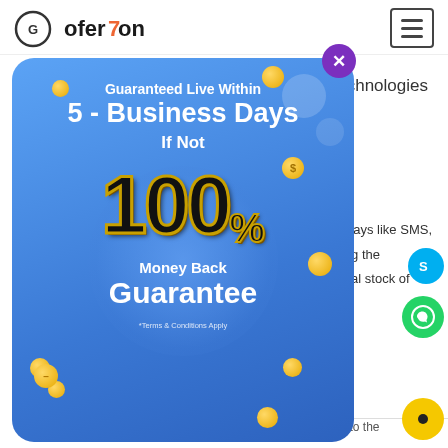[Figure (screenshot): GoferZone website header with logo and hamburger menu icon]
Technologies
[Figure (infographic): Modal popup advertisement: 'Guaranteed Live Within 5 - Business Days If Not 100% Money Back Guarantee. *Terms & Conditions Apply']
ways like SMS, ng the eal stock of
100% Source code
According to the package selection we provide access to the